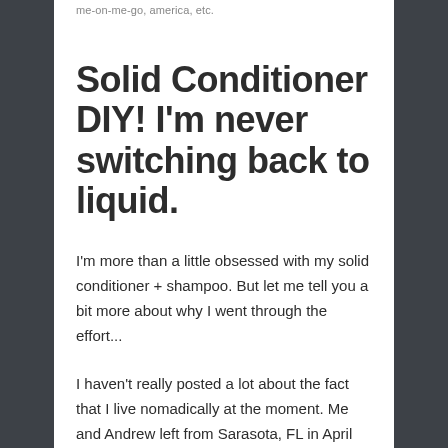me-on-me-go, america, etc.
Solid Conditioner DIY! I'm never switching back to liquid.
I'm more than a little obsessed with my solid conditioner + shampoo. But let me tell you a bit more about why I went through the effort...
I haven't really posted a lot about the fact that I live nomadically at the moment. Me and Andrew left from Sarasota, FL in April and we're almost to San Diego, CA! Knowing that